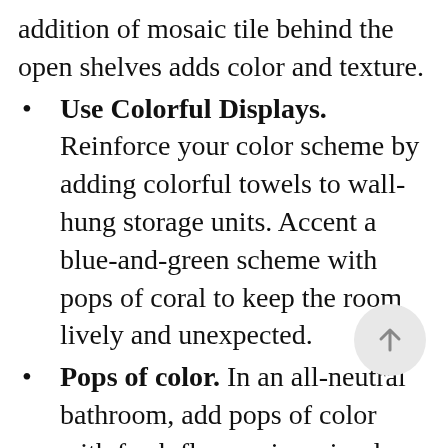addition of mosaic tile behind the open shelves adds color and texture.
Use Colorful Displays. Reinforce your color scheme by adding colorful towels to wall-hung storage units. Accent a blue-and-green scheme with pops of coral to keep the room lively and unexpected.
Pops of color. In an all-neutral bathroom, add pops of color with fresh flowers in a simple vase on the vanity. It's effortless, inexpensive, and easy to mix up the palette and accessories with each new bouquet.
Free Up Floor Space. Help a powder room or petite bath feel larger with a wall-mount sink. Free up floor space and